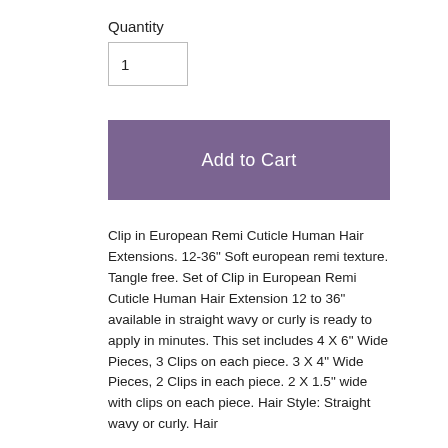Quantity
1
Add to Cart
Clip in European Remi Cuticle Human Hair Extensions. 12-36" Soft european remi texture. Tangle free. Set of Clip in European Remi Cuticle Human Hair Extension 12 to 36" available in straight wavy or curly is ready to apply in minutes. This set includes 4 X 6" Wide Pieces, 3 Clips on each piece. 3 X 4" Wide Pieces, 2 Clips in each piece. 2 X 1.5" wide with clips on each piece. Hair Style: Straight wavy or curly. Hair